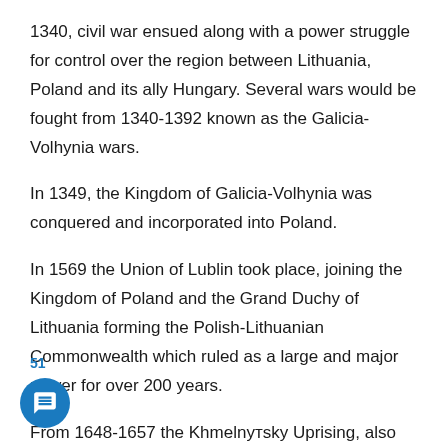1340, civil war ensued along with a power struggle for control over the region between Lithuania, Poland and its ally Hungary. Several wars would be fought from 1340-1392 known as the Galicia-Volhynia wars.
In 1349, the Kingdom of Galicia-Volhynia was conquered and incorporated into Poland.
In 1569 the Union of Lublin took place, joining the Kingdom of Poland and the Grand Duchy of Lithuania forming the Polish-Lithuanian Commonwealth which ruled as a large and major power for over 200 years.
From 1648-1657 the Khmelnyтsky Uprising, also known as the Cossack-Polish War took place in the eastern territories of the Polish-Lithuanian Commonwealth, which led to the creation of Cossack Hetmanate in Ukraine.
51